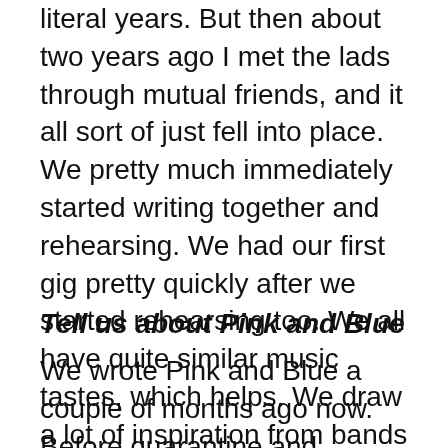literal years. But then about two years ago I met the lads through mutual friends, and it all sort of just fell into place. We pretty much immediately started writing together and rehearsing. We had our first gig pretty quickly after we started rehearsing too. We all have quite similar music tastes, which helps. We draw a lot of inspiration from bands and artists like Wolf Alice, The Japanese House, The Cure, Clairo, and Smashing Pumpkins. So it’s definitely a mixed bag. But it works for us.
Tell us about Pink and Blue
We wrote Pink and Blue a couple of months ago now. Before quarantine and lockdown even started. Then we recorded it with our friend Adam of Flaked